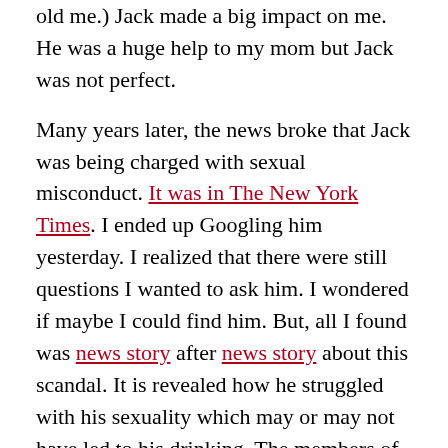old me.) Jack made a big impact on me. He was a huge help to my mom but Jack was not perfect.
Many years later, the news broke that Jack was being charged with sexual misconduct. It was in The New York Times. I ended up Googling him yesterday. I realized that there were still questions I wanted to ask him. I wondered if maybe I could find him. But, all I found was news story after news story about this scandal. It is revealed how he struggled with his sexuality which may or may not have led to his drinking. The members of that church knew that he wasn't perfect. They knew that he had some demons. I don't know if they made the same space for those struggles as Jack made for my mom, but eventually, he was removed. He was forced to resign. He was removed of his ministerial standing. He is, now, what